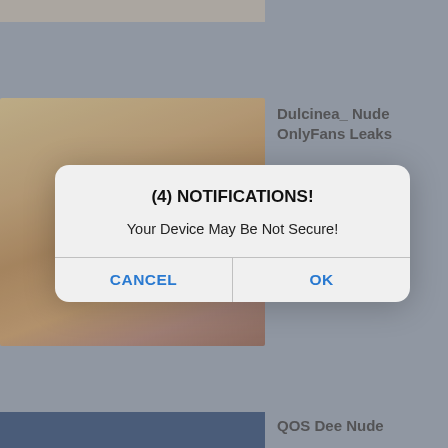[Figure (screenshot): Cropped thumbnail image at top left]
[Figure (photo): Close-up photo of a blonde person's face, middle left]
Dulcinea_ Nude OnlyFans Leaks
[Figure (screenshot): Notification dialog box overlay: '(4) NOTIFICATIONS! Your Device May Be Not Secure!' with CANCEL and OK buttons]
[Figure (screenshot): Blue-tinted thumbnail at bottom left]
QOS Dee Nude